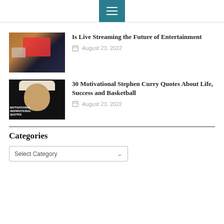☰ (menu icon)
Is Live Streaming the Future of Entertainment
August 23, 2022
30 Motivational Stephen Curry Quotes About Life, Success and Basketball
August 23, 2022
Categories
Select Category